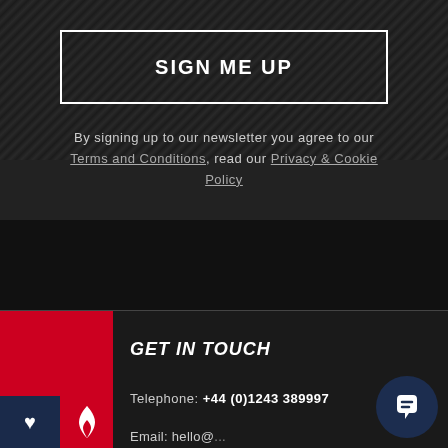SIGN ME UP
By signing up to our newsletter you agree to our Terms and Conditions, read our Privacy & Cookie Policy
GET IN TOUCH
Telephone: +44 (0)1243 389997
Email: hello@...